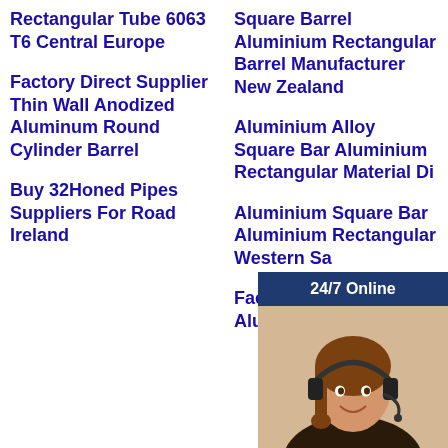Rectangular Tube 6063 T6 Central Europe
Factory Direct Supplier Thin Wall Anodized Aluminum Round Cylinder Barrel
Buy 32Honed Pipes Suppliers For Road Ireland
Square Barrel Aluminium Rectangular Barrel Manufacturer New Zealand
Aluminium Alloy Square Bar Aluminium Rectangular Material Di...
Aluminium Square Bar Aluminium Rectangular Western Sa...
Factory Price Aluminium Alloy...
[Figure (photo): Chat support widget with a customer service agent photo, '24/7 Online' header, 'Have any requests, click here.' text, and a 'Quotation' button]